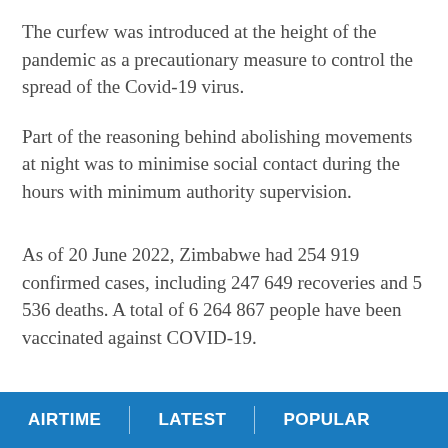The curfew was introduced at the height of the pandemic as a precautionary measure to control the spread of the Covid-19 virus.
Part of the reasoning behind abolishing movements at night was to minimise social contact during the hours with minimum authority supervision.
As of 20 June 2022, Zimbabwe had 254 919 confirmed cases, including 247 649 recoveries and 5 536 deaths. A total of 6 264 867 people have been vaccinated against COVID-19.
AIRTIME | LATEST | POPULAR